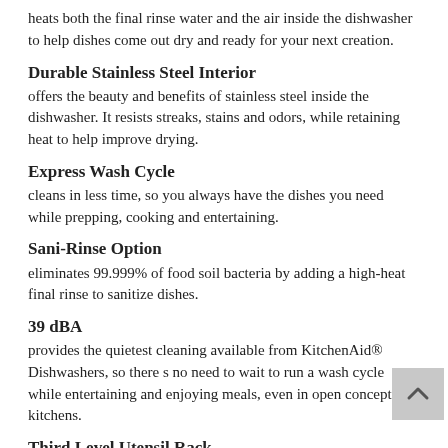heats both the final rinse water and the air inside the dishwasher to help dishes come out dry and ready for your next creation.
Durable Stainless Steel Interior
offers the beauty and benefits of stainless steel inside the dishwasher. It resists streaks, stains and odors, while retaining heat to help improve drying.
Express Wash Cycle
cleans in less time, so you always have the dishes you need while prepping, cooking and entertaining.
Sani-Rinse Option
eliminates 99.999% of food soil bacteria by adding a high-heat final rinse to sanitize dishes.
39 dBA
provides the quietest cleaning available from KitchenAid® Dishwashers, so there s no need to wait to run a wash cycle while entertaining and enjoying meals, even in open concept kitchens.
Third Level Utensil Rack
provides additional space for long and flat items like silverware,